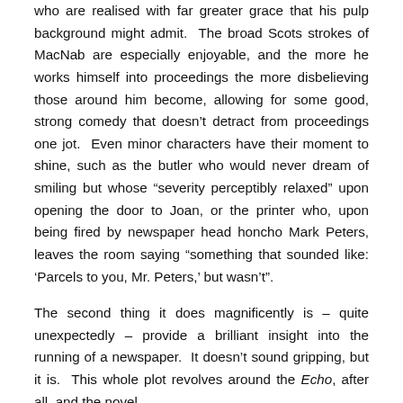who are realised with far greater grace that his pulp background might admit. The broad Scots strokes of MacNab are especially enjoyable, and the more he works himself into proceedings the more disbelieving those around him become, allowing for some good, strong comedy that doesn't detract from proceedings one jot. Even minor characters have their moment to shine, such as the butler who would never dream of smiling but whose “severity perceptibly relaxed” upon opening the door to Joan, or the printer who, upon being fired by newspaper head honcho Mark Peters, leaves the room saying “something that sounded like: ‘Parcels to you, Mr. Peters,’ but wasn’t”.
The second thing it does magnificently is – quite unexpectedly – provide a brilliant insight into the running of a newspaper. It doesn’t sound gripping, but it is. This whole plot revolves around the Echo, after all, and the novel